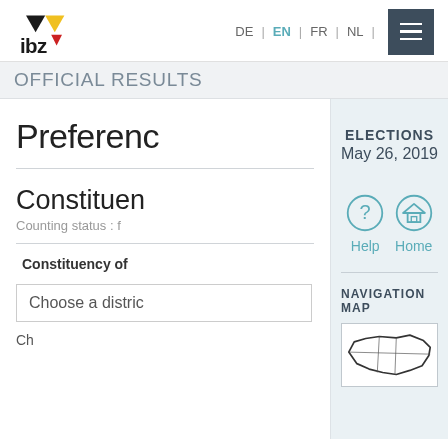[Figure (logo): IBZ logo with black and yellow/red triangles and 'ibz' text]
DE | EN | FR | NL
OFFICIAL RESULTS
Preference
ELECTIONS
May 26, 2019
[Figure (infographic): Help icon (question mark in circle) and Home icon (house in circle) with labels Help and Home]
Constituency
Counting status : f
Constituency of
Choose a district
NAVIGATION MAP
[Figure (map): Outline map of Belgium showing regions/provinces]